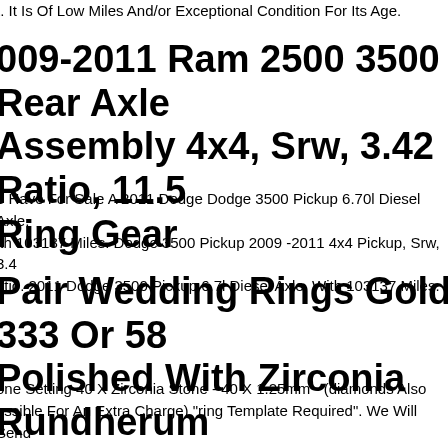t. It Is Of Low Miles And/or Exceptional Condition For Its Age.
009-2011 Ram 2500 3500 Rear Axle Assembly 4x4, Srw, 3.42 Ratio, 11.5 Ring Gear
e Have For Sale A 2011 Dodge Dodge 3500 Pickup 6.70l Diesel Axle, ith 103137 Miles. Dodge 3500 Pickup 2009 -2011 4x4 Pickup, Srw, 3.4 atio. 2011 Dodge 3500 Pickup 6.7l Diesel Axle, With 103137 Miles.
Pair Wedding Rings Gold 333 Or 58 Polished With Zirconia Rundherum
one Setting 40 X Zirconia Stone - 40 X 1.25mm - (diamonds Also ossible For An Extra Charge) "ring Template Required". We Will Send ou The Ring Template Immediately After Placing Your Order. anufacturing Time15 Working Days (monday To Friday) After Recei